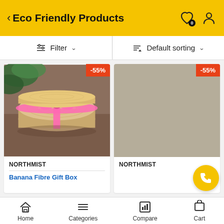Eco Friendly Products
Filter  Default sorting
[Figure (photo): Round wooden gift box wrapped with pink ribbon, sitting on a brick surface with plants in background. Discount badge -55% in top right corner.]
NORTHMIST
Banana Fibre Gift Box
[Figure (photo): Product image placeholder (tan/beige color). Discount badge -55% in top right corner.]
NORTHMIST
Home  Categories  Compare  Cart